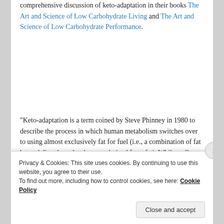comprehensive discussion of keto-adaptation in their books The Art and Science of Low Carbohydrate Living and The Art and Science of Low Carbohydrate Performance.
“Keto-adaptation is a term coined by Steve Phinney in 1980 to describe the process in which human metabolism switches over to using almost exclusively fat for fuel (i.e., a combination of fat burned directly and as ketones derived from fat). While well studied and documented
Privacy & Cookies: This site uses cookies. By continuing to use this website, you agree to their use.
To find out more, including how to control cookies, see here: Cookie Policy
Close and accept